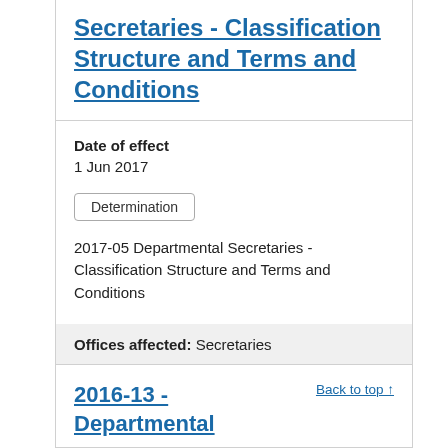Secretaries - Classification Structure and Terms and Conditions
Date of effect
1 Jun 2017
Determination
2017-05 Departmental Secretaries - Classification Structure and Terms and Conditions
Offices affected: Secretaries
2016-13 - Departmental
Back to top ↑